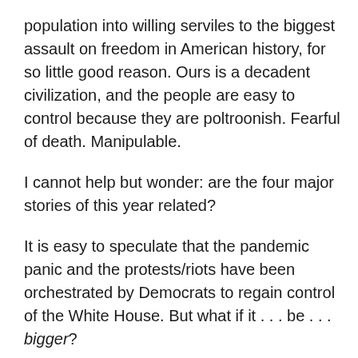population into willing serviles to the biggest assault on freedom in American history, for so little good reason. Ours is a decadent civilization, and the people are easy to control because they are poltroonish. Fearful of death. Manipulable.
I cannot help but wonder: are the four major stories of this year related?
It is easy to speculate that the pandemic panic and the protests/riots have been orchestrated by Democrats to regain control of the White House. But what if it . . . be . . . bigger?
What if it is all being done to soft-pedal the most unsettling story of all time? That is, what if (1), (2), and (3) all revolve around (4)?